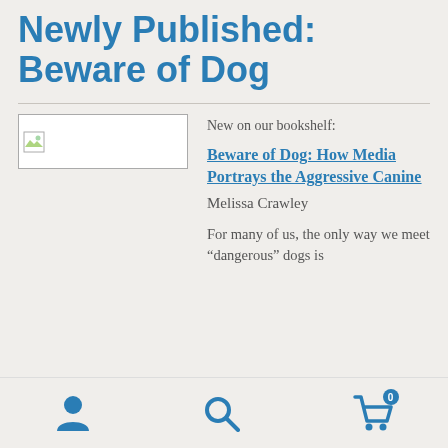Newly Published: Beware of Dog
[Figure (other): Placeholder image for book cover]
New on our bookshelf:
Beware of Dog: How Media Portrays the Aggressive Canine
Melissa Crawley
For many of us, the only way we meet “dangerous” dogs is
User icon, Search icon, Cart icon (0)